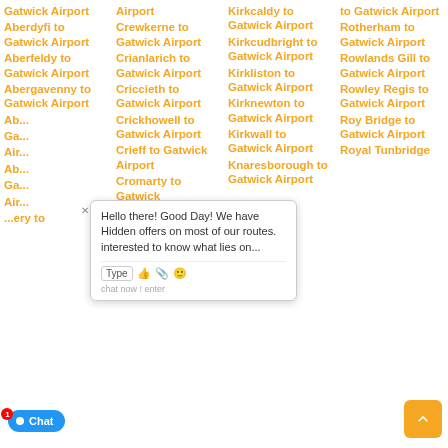Gatwick Airport
Aberdyfi to Gatwick Airport
Aberfeldy to Gatwick Airport
Abergavenny to Gatwick Airport
Ab... Ga... Air...
Ab... Ga... Air...
...ery to
Airport Crewkerne to Gatwick Airport
Crianlarich to Gatwick Airport
Criccieth to Gatwick Airport
Crickhowell to Gatwick Airport
Crieff to Gatwick Airport
Cromarty to Gatwick
Kirkcaldy to Gatwick Airport
Kirkcudbright to Gatwick Airport
Kirkliston to Gatwick Airport
Kirknewton to Gatwick Airport
Kirkwall to Gatwick Airport
Knaresborough to Gatwick Airport
to Gatwick Airport
Rotherham to Gatwick Airport
Rowlands Gill to Gatwick Airport
Rowley Regis to Gatwick Airport
Roy Bridge to Gatwick Airport
Royal Tunbridge